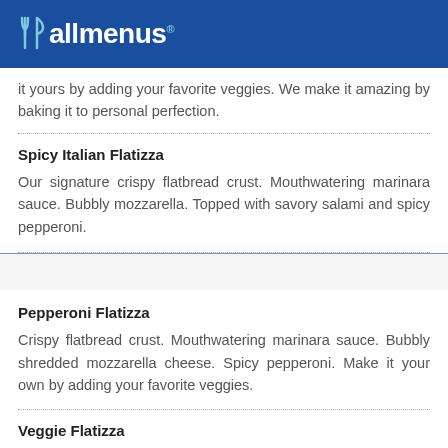allmenus
it yours by adding your favorite veggies. We make it amazing by baking it to personal perfection.
Spicy Italian Flatizza
Our signature crispy flatbread crust. Mouthwatering marinara sauce. Bubbly mozzarella. Topped with savory salami and spicy pepperoni.
Pepperoni Flatizza
Crispy flatbread crust. Mouthwatering marinara sauce. Bubbly shredded mozzarella cheese. Spicy pepperoni. Make it your own by adding your favorite veggies.
Veggie Flatizza